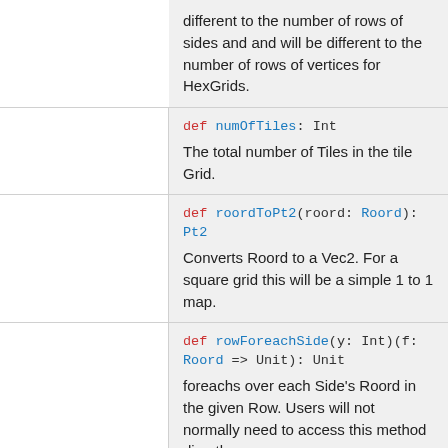different to the number of rows of sides and and will be different to the number of rows of vertices for HexGrids.
def numOfTiles: Int
The total number of Tiles in the tile Grid.
def roordToPt2(roord: Roord): Pt2
Converts Roord to a Vec2. For a square grid this will be a simple 1 to 1 map.
def rowForeachSide(y: Int)(f: Roord => Unit): Unit
foreachs over each Side's Roord in the given Row. Users will not normally need to access this method directly.
def rowForeachTile(y: Int)(f: Roord => Unit): Unit